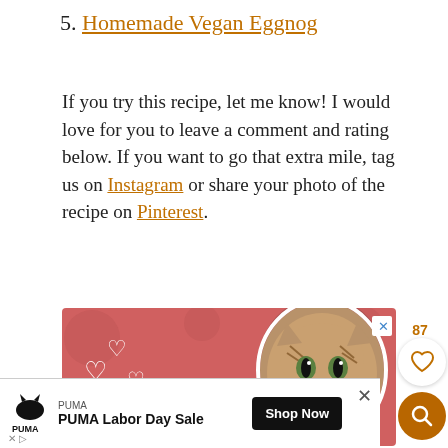5. Homemade Vegan Eggnog
If you try this recipe, let me know! I would love for you to leave a comment and rating below. If you want to go that extra mile, tag us on Instagram or share your photo of the recipe on Pinterest.
[Figure (photo): Advertisement banner with cat and hearts on pink background, text reading BEST FRIENDS]
[Figure (advertisement): PUMA Labor Day Sale advertisement with Shop Now button]